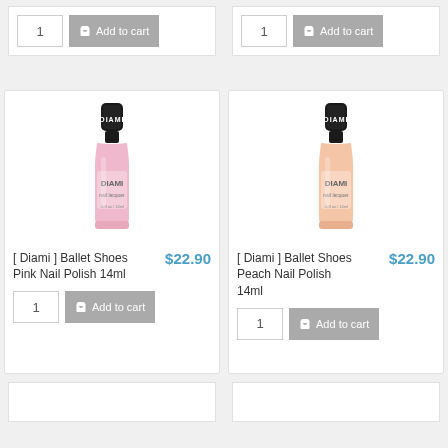[Figure (screenshot): Top-left product card partial: quantity box with '1' and 'Add to cart' button]
[Figure (screenshot): Top-right product card partial: quantity box with '1' and 'Add to cart' button]
[Figure (photo): Diami Ballet Shoes Pink Nail Polish 14ml product bottle image]
[ Diami ] Ballet Shoes Pink Nail Polish 14ml
$22.90
[Figure (photo): Diami Ballet Shoes Peach Nail Polish 14ml product bottle image]
[ Diami ] Ballet Shoes Peach Nail Polish 14ml
$22.90
[Figure (screenshot): Bottom-left partial product card (pink)]
[Figure (screenshot): Bottom-right partial product card (peach)]